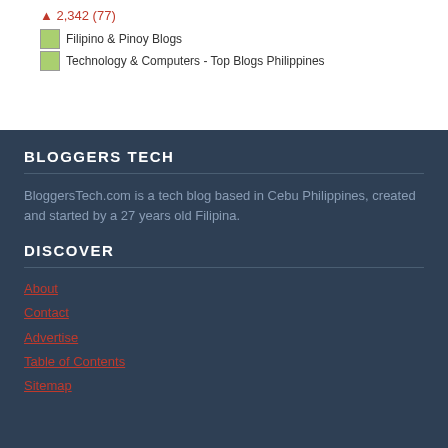2,342 (77)
[Figure (other): Filipino & Pinoy Blogs badge image]
[Figure (other): Technology & Computers - Top Blogs Philippines badge image]
BLOGGERS TECH
BloggersTech.com is a tech blog based in Cebu Philippines, created and started by a 27 years old Filipina.
DISCOVER
About
Contact
Advertise
Table of Contents
Sitemap